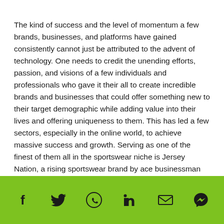The kind of success and the level of momentum a few brands, businesses, and platforms have gained consistently cannot just be attributed to the advent of technology. One needs to credit the unending efforts, passion, and visions of a few individuals and professionals who gave it their all to create incredible brands and businesses that could offer something new to their target demographic while adding value into their lives and offering uniqueness to them. This has led a few sectors, especially in the online world, to achieve massive success and growth. Serving as one of the finest of them all in the sportswear niche is Jersey Nation, a rising sportswear brand by ace businessman Shakir Hammadi, who serves as the founder and CEO.
[Figure (other): Social media sharing footer bar with icons for Facebook, Twitter, WhatsApp, LinkedIn, Email, and Messenger on a green background]